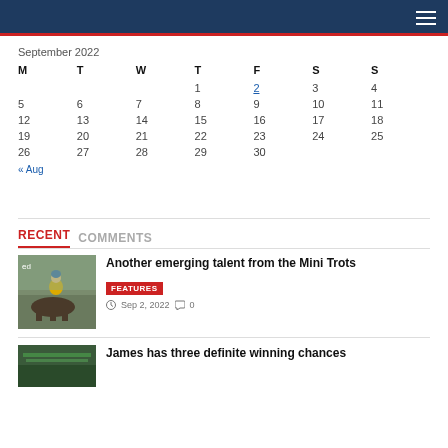Navigation header with hamburger menu
September 2022
| M | T | W | T | F | S | S |
| --- | --- | --- | --- | --- | --- | --- |
|  |  |  | 1 | 2 | 3 | 4 |
| 5 | 6 | 7 | 8 | 9 | 10 | 11 |
| 12 | 13 | 14 | 15 | 16 | 17 | 18 |
| 19 | 20 | 21 | 22 | 23 | 24 | 25 |
| 26 | 27 | 28 | 29 | 30 |  |  |
« Aug
RECENT   COMMENTS
[Figure (photo): Jockey in yellow outfit riding harness racing horse]
Another emerging talent from the Mini Trots
FEATURES
Sep 2, 2022   0
[Figure (photo): Partial view of second article thumbnail]
James has three definite winning chances